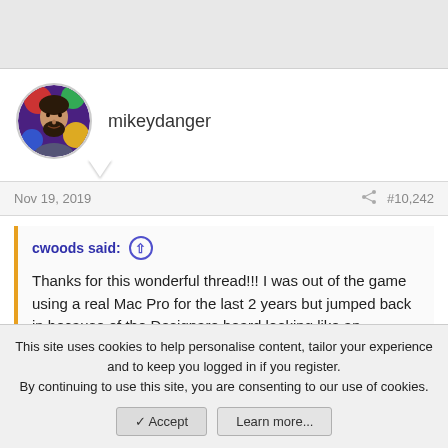[Figure (photo): Circular avatar photo of forum user mikeydanger — a bearded man with colorful artistic background]
mikeydanger
Nov 19, 2019
#10,242
cwoods said:
Thanks for this wonderful thread!!! I was out of the game using a real Mac Pro for the last 2 years but jumped back in because of the Designare board looking like an incredible Mac like board. I was just wondering if most people are using iMac 19,1 or iMac Pro 1,1? I'm using iMac 19,1 because I have the i9 9900K and everything seems to be rock solid.
This site uses cookies to help personalise content, tailor your experience and to keep you logged in if you register.
By continuing to use this site, you are consenting to our use of cookies.
Accept
Learn more...